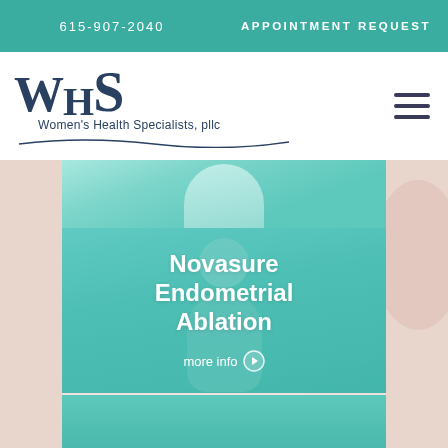615-907-2040
APPOINTMENT REQUEST
[Figure (logo): WHS Women's Health Specialists, pllc logo with teal serif letters and cursive underline]
Novasure Endometrial Ablation
more info
[Figure (photo): Woman holding abdomen in pain, teal-tinted overlay, top strip]
[Figure (photo): Medical/clinical image at bottom, teal-tinted]